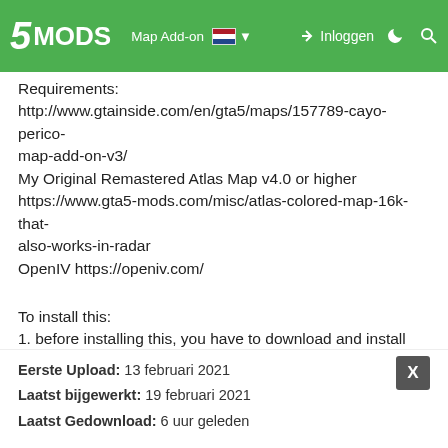5MODS — Map Add-on | Inloggen
Requirements:
http://www.gtainside.com/en/gta5/maps/157789-cayo-perico-map-add-on-v3/
My Original Remastered Atlas Map v4.0 or higher
https://www.gta5-mods.com/misc/atlas-colored-map-16k-that-also-works-in-radar
OpenIV https://openiv.com/
To install this:
1. before installing this, you have to download and install my original remastered atlas map (4.0 or higher) following the readme file from that mod, then come back
2. now in this archive, choose a folder (high, medium or low quality), choose if you want cayo perico south with the original location or cayo perico north (moved), then choose the same
Show Full Description
Eerste Upload: 13 februari 2021
Laatst bijgewerkt: 19 februari 2021
Laatst Gedownload: 6 uur geleden